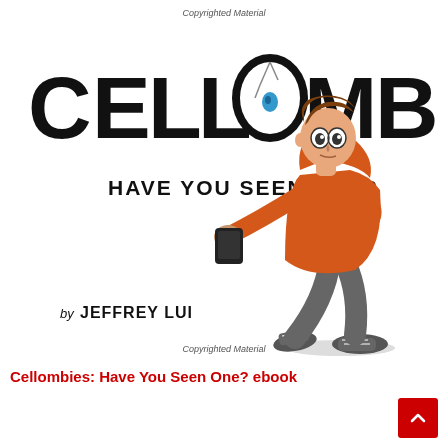Copyrighted Material
CELLOMBIES
HAVE YOU SEEN ONE?
[Figure (illustration): Cartoon illustration of a person wearing an orange hoodie and grey pants, hunched forward holding a smartphone out in front of them like a zombie, with wide eyes and sneakers.]
by JEFFREY LUI
Copyrighted Material
Cellombies: Have You Seen One? ebook